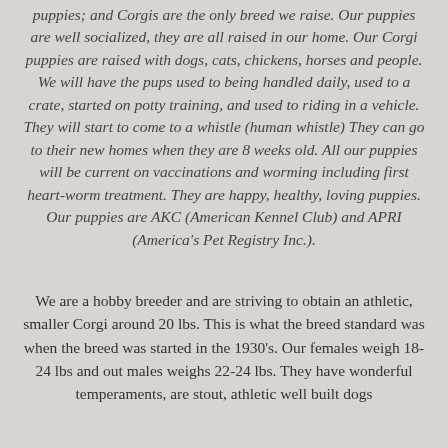puppies; and Corgis are the only breed we raise. Our puppies are well socialized, they are all raised in our home. Our Corgi puppies are raised with dogs, cats, chickens, horses and people. We will have the pups used to being handled daily, used to a crate, started on potty training, and used to riding in a vehicle. They will start to come to a whistle (human whistle) They can go to their new homes when they are 8 weeks old. All our puppies will be current on vaccinations and worming including first heart-worm treatment. They are happy, healthy, loving puppies. Our puppies are AKC (American Kennel Club) and APRI (America's Pet Registry Inc.).
We are a hobby breeder and are striving to obtain an athletic, smaller Corgi around 20 lbs. This is what the breed standard was when the breed was started in the 1930's. Our females weigh 18-24 lbs and out males weighs 22-24 lbs. They have wonderful temperaments, are stout, athletic well built dogs